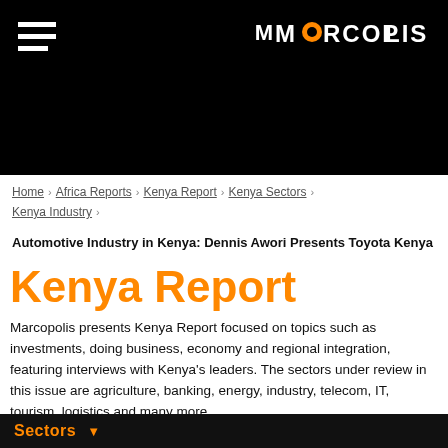MARCOPOLIS
Home > Africa Reports > Kenya Report > Kenya Sectors > Kenya Industry >
Automotive Industry in Kenya: Dennis Awori Presents Toyota Kenya
Kenya Report
Marcopolis presents Kenya Report focused on topics such as investments, doing business, economy and regional integration, featuring interviews with Kenya's leaders. The sectors under review in this issue are agriculture, banking, energy, industry, telecom, IT, tourism, logistics and many more.
Sectors ▼